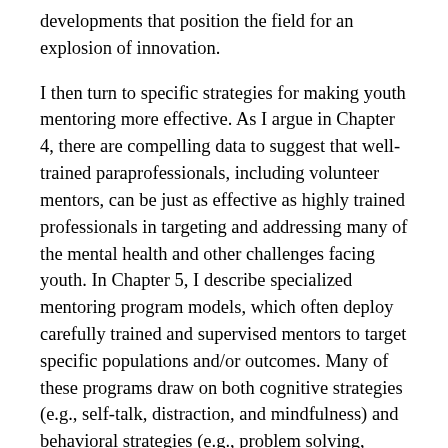developments that position the field for an explosion of innovation.
I then turn to specific strategies for making youth mentoring more effective. As I argue in Chapter 4, there are compelling data to suggest that well-trained paraprofessionals, including volunteer mentors, can be just as effective as highly trained professionals in targeting and addressing many of the mental health and other challenges facing youth. In Chapter 5, I describe specialized mentoring program models, which often deploy carefully trained and supervised mentors to target specific populations and/or outcomes. Many of these programs draw on both cognitive strategies (e.g., self-talk, distraction, and mindfulness) and behavioral strategies (e.g., problem solving, activation, self-monitoring, and relaxation). Specialized models that target mentoring in